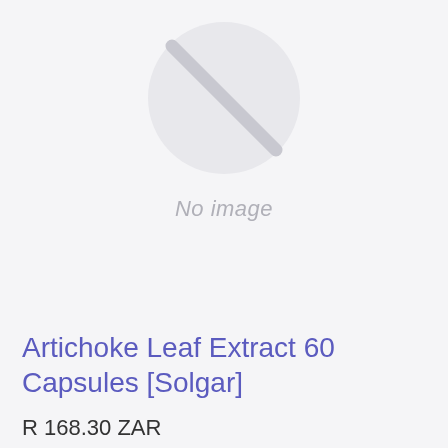[Figure (illustration): A light gray circle with a diagonal line through it (no-image placeholder icon), with the text 'No image' below it in gray italic font]
Artichoke Leaf Extract 60 Capsules [Solgar]
R 168.30 ZAR